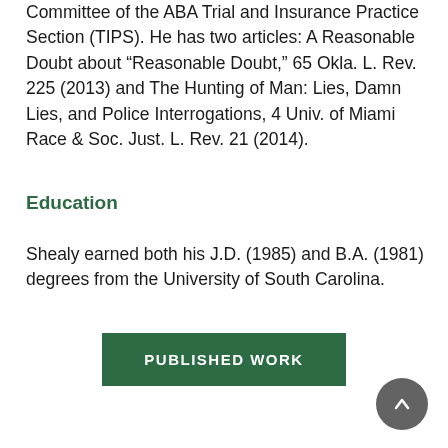Committee of the ABA Trial and Insurance Practice Section (TIPS). He has two articles: A Reasonable Doubt about “Reasonable Doubt,” 65 Okla. L. Rev. 225 (2013) and The Hunting of Man: Lies, Damn Lies, and Police Interrogations, 4 Univ. of Miami Race & Soc. Just. L. Rev. 21 (2014).
Education
Shealy earned both his J.D. (1985) and B.A. (1981) degrees from the University of South Carolina.
[Figure (other): Green button labeled PUBLISHED WORK]